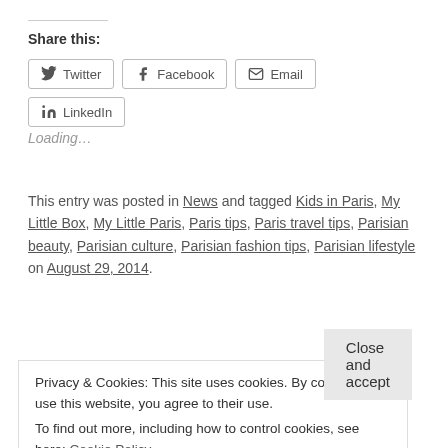Share this:
Twitter  Facebook  Email  LinkedIn
Loading…
This entry was posted in News and tagged Kids in Paris, My Little Box, My Little Paris, Paris tips, Paris travel tips, Parisian beauty, Parisian culture, Parisian fashion tips, Parisian lifestyle on August 29, 2014.
Privacy & Cookies: This site uses cookies. By continuing to use this website, you agree to their use.
To find out more, including how to control cookies, see here: Cookie Policy